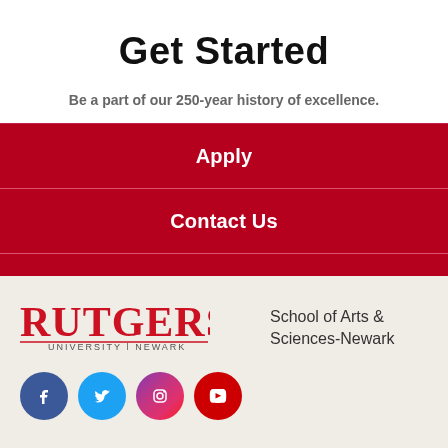Get Started
Be a part of our 250-year history of excellence.
Apply
Contact Us
Visit Us
[Figure (logo): Rutgers University Newark logo in red]
School of Arts & Sciences-Newark
[Figure (infographic): Social media icons: Facebook (blue circle), Twitter (light blue circle), Instagram (purple/pink gradient circle), YouTube (red circle)]